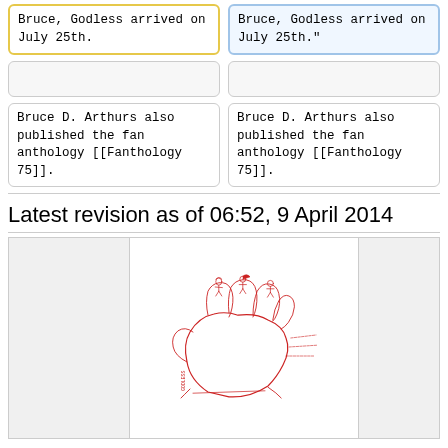Bruce, Godless arrived on July 25th.
Bruce, Godless arrived on July 25th."
Bruce D. Arthurs also published the fan anthology [[Fanthology 75]].
Bruce D. Arthurs also published the fan anthology [[Fanthology 75]].
Latest revision as of 06:52, 9 April 2014
[Figure (illustration): Red line drawing/sketch of a hand with small figures of people standing on the fingers, with text 'GODLESS' visible at the bottom left of the image.]